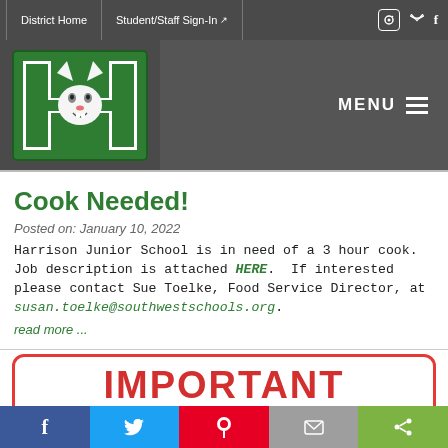District Home | Student/Staff Sign-In
[Figure (logo): Harrison Junior School logo — large green H with wildcat mascot]
Cook Needed!
Posted on: January 10, 2022
Harrison Junior School is in need of a 3 hour cook. Job description is attached HERE. If interested please contact Sue Toelke, Food Service Director, at susan.toelke@southwestschools.org.
read more ...
[Figure (infographic): Red-bordered box with large bold red text reading IMPORTANT]
Facebook | Twitter | Pinterest | Email | Share